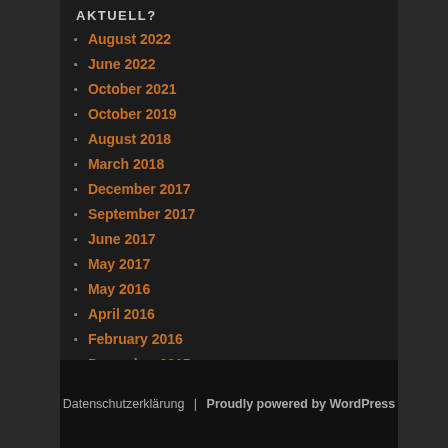AKTUELL?
August 2022
June 2022
October 2021
October 2019
August 2018
March 2018
December 2017
September 2017
June 2017
May 2017
May 2016
April 2016
February 2016
December 2015
November 2015
October 2015
Datenschutzerklärung | Proudly powered by WordPress